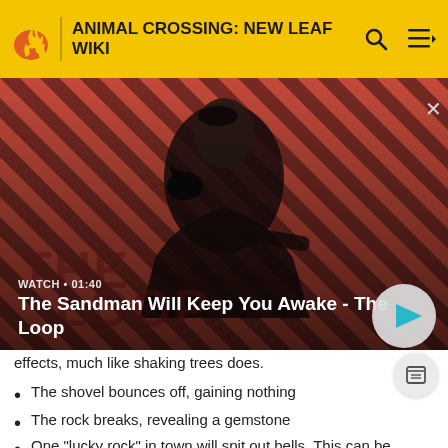ANIMAL CROSSING: NEW LEAF WIKI
[Figure (screenshot): Video thumbnail for 'The Sandman Will Keep You Awake - The Loop' showing a dark figure with a raven on his shoulder against a red and black striped background. Overlay shows WATCH • 01:40 label and a play button.]
effects, much like shaking trees does.
The shovel bounces off, gaining nothing
The rock breaks, revealing a gemstone
One "lucky rock" in town will spit out bells. This can be